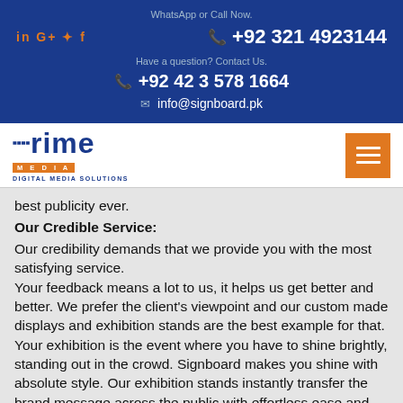WhatsApp or Call Now.
in G+ ✦ f   +92 321 4923144
Have a question? Contact Us.
+92 42 3 578 1664
info@signboard.pk
[Figure (logo): Prime Media Digital Media Solutions logo with orange menu button]
best publicity ever.
Our Credible Service:
Our credibility demands that we provide you with the most satisfying service.
Your feedback means a lot to us, it helps us get better and better. We prefer the client's viewpoint and our custom made displays and exhibition stands are the best example for that. Your exhibition is the event where you have to shine brightly, standing out in the crowd. Signboard makes you shine with absolute style. Our exhibition stands instantly transfer the brand message across the public with effortless ease and extraordinary brilliance.